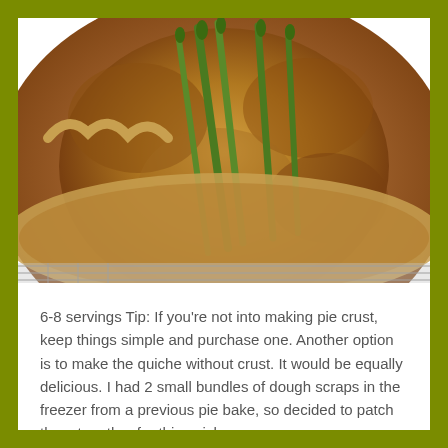[Figure (photo): Close-up photo of a golden-brown asparagus quiche with a rustic pie crust, sitting on a wire cooling rack. Green asparagus spears are visible on top of the cheesy, egg-based filling.]
6-8 servings Tip: If you're not into making pie crust, keep things simple and purchase one. Another option is to make the quiche without crust. It would be equally delicious. I had 2 small bundles of dough scraps in the freezer from a previous pie bake, so decided to patch them together for this quiche....
Continue Reading →